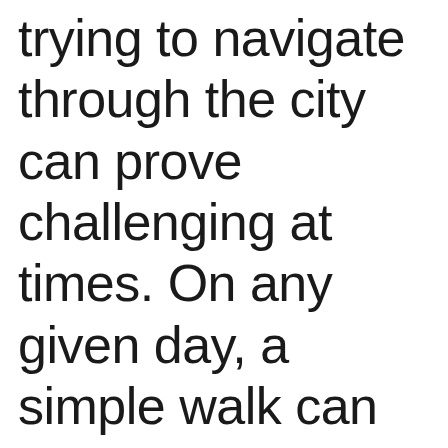trying to navigate through the city can prove challenging at times. On any given day, a simple walk can include jumping over potholes, dodging construction materials and avoiding